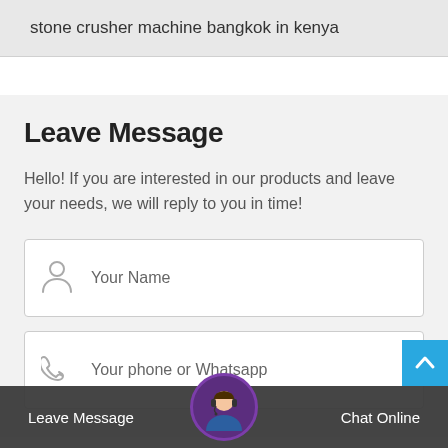stone crusher machine bangkok in kenya
Leave Message
Hello! If you are interested in our products and leave your needs, we will reply to you in time!
Your Name
Your phone or Whatsapp
Leave Message
[Figure (photo): Customer support avatar - woman with headset]
Chat Online
product Name